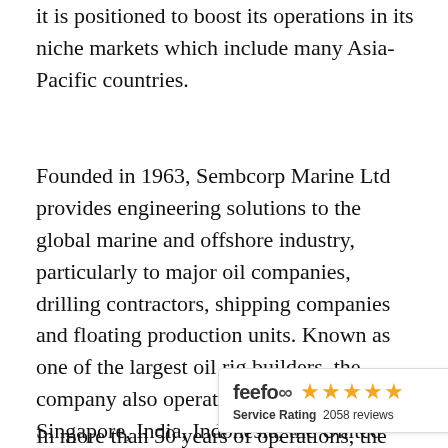it is positioned to boost its operations in its niche markets which include many Asia-Pacific countries.
Founded in 1963, Sembcorp Marine Ltd provides engineering solutions to the global marine and offshore industry, particularly to major oil companies, drilling contractors, shipping companies and floating production units. Known as one of the largest oil rig builders, the company also operates shipyards in Singapore, India, Indonesia, the United Kingdom and Brazil.
[Figure (other): Feefo service rating badge showing 5 stars and 2058 reviews]
In more than 50 years of operations, the